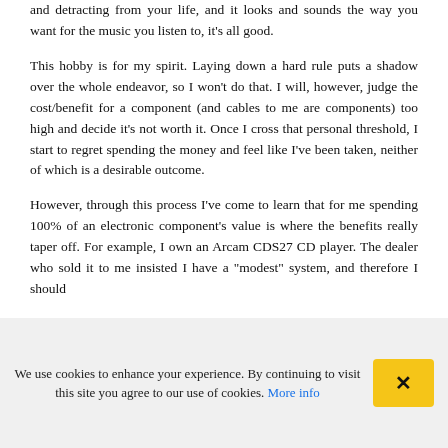and detracting from your life, and it looks and sounds the way you want for the music you listen to, it's all good.
This hobby is for my spirit. Laying down a hard rule puts a shadow over the whole endeavor, so I won't do that. I will, however, judge the cost/benefit for a component (and cables to me are components) too high and decide it's not worth it. Once I cross that personal threshold, I start to regret spending the money and feel like I've been taken, neither of which is a desirable outcome.
However, through this process I've come to learn that for me spending 100% of an electronic component's value is where the benefits really taper off. For example, I own an Arcam CDS27 CD player. The dealer who sold it to me insisted I have a "modest" system, and therefore I should
We use cookies to enhance your experience. By continuing to visit this site you agree to our use of cookies. More info